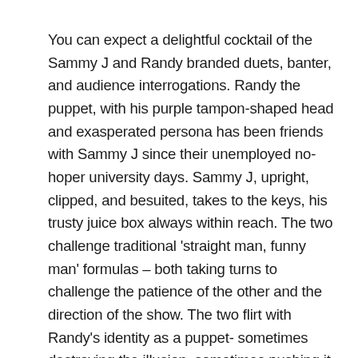You can expect a delightful cocktail of the Sammy J and Randy branded duets, banter, and audience interrogations. Randy the puppet, with his purple tampon-shaped head and exasperated persona has been friends with Sammy J since their unemployed no-hoper university days. Sammy J, upright, clipped, and besuited, takes to the keys, his trusty juice box always within reach. The two challenge traditional 'straight man, funny man' formulas – both taking turns to challenge the patience of the other and the direction of the show. The two flirt with Randy's identity as a puppet- sometimes destroying the illusion, sometimes pushing it to new (naughty) levels. The